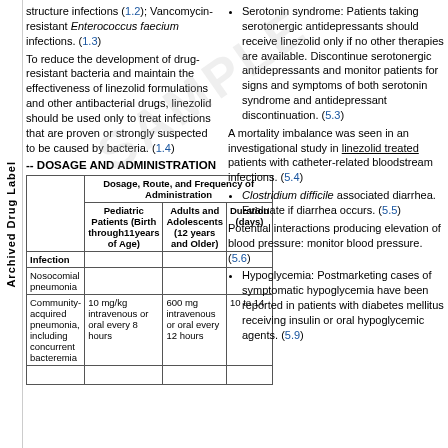Archived Drug Label
structure infections (1.2); Vancomycin-resistant Enterococcus faecium infections. (1.3)
To reduce the development of drug-resistant bacteria and maintain the effectiveness of linezolid formulations and other antibacterial drugs, linezolid should be used only to treat infections that are proven or strongly suspected to be caused by bacteria. (1.4)
-- DOSAGE AND ADMINISTRATION
| Infection | Pediatric Patients (Birth through 11 years of Age) | Adults and Adolescents (12 years and Older) | Dosage, Route, and Frequency of Administration | Duration (days) |
| --- | --- | --- | --- | --- |
| Nosocomial pneumonia |  |  |  |  |
| Community-acquired pneumonia, including concurrent bacteremia | 10 mg/kg intravenous or oral every 8 hours | 600 mg intravenous or oral every 12 hours |  | 10 to 14 |
Serotonin syndrome: Patients taking serotonergic antidepressants should receive linezolid only if no other therapies are available. Discontinue serotonergic antidepressants and monitor patients for signs and symptoms of both serotonin syndrome and antidepressant discontinuation. (5.3)
A mortality imbalance was seen in an investigational study in linezolid treated patients with catheter-related bloodstream infections. (5.4)
Clostridium difficile associated diarrhea. Evaluate if diarrhea occurs. (5.5)
Potential interactions producing elevation of blood pressure: monitor blood pressure. (5.6)
Hypoglycemia: Postmarketing cases of symptomatic hypoglycemia have been reported in patients with diabetes mellitus receiving insulin or oral hypoglycemic agents. (5.9)